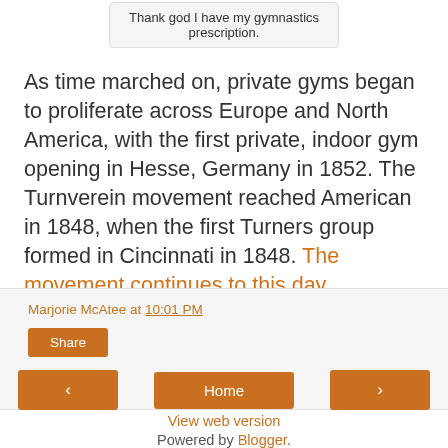Thank god I have my gymnastics prescription.
As time marched on, private gyms began to proliferate across Europe and North America, with the first private, indoor gym opening in Hesse, Germany in 1852. The Turnverein movement reached American in 1848, when the first Turners group formed in Cincinnati in 1848. The movement continues to this day.
Marjorie McAtee at 10:01 PM
Share
‹
Home
›
View web version
Powered by Blogger.